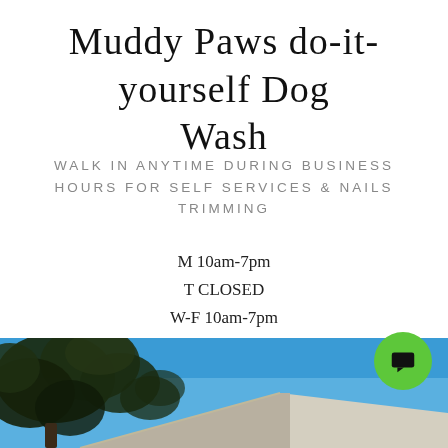Muddy Paws do-it-yourself Dog Wash
WALK IN ANYTIME DURING BUSINESS HOURS FOR SELF SERVICES & NAILS TRIMMING
M 10am-7pm
T CLOSED
W-F 10am-7pm
S & S 9am-6pm
Last bath is 30 min before closing
refer to Google maps hours are updated daily
[Figure (photo): Outdoor photo showing tree branches against a blue sky with a building roof visible]